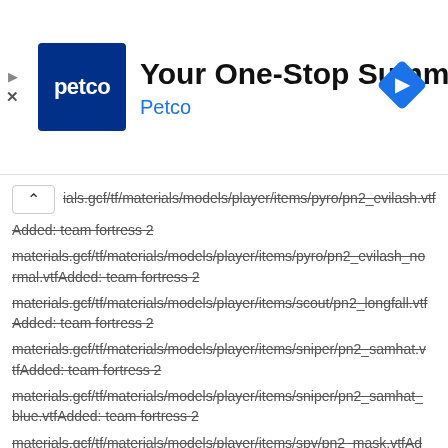[Figure (screenshot): Petco advertisement banner with logo, title 'Your One-Stop Summer Pet Shop', subtitle 'Petco', and a blue diamond navigation icon on the right]
ials.gcf/tf/materials/models/player/items/pyro/pn2_evilash.vtf
Added: team fortress 2
materials.gcf/tf/materials/models/player/items/pyro/pn2_evilash_normal.vtfAdded: team fortress 2
materials.gcf/tf/materials/models/player/items/scout/pn2_longfall.vtf
Added: team fortress 2
materials.gcf/tf/materials/models/player/items/sniper/pn2_samhat.vtfAdded: team fortress 2
materials.gcf/tf/materials/models/player/items/sniper/pn2_samhat_blue.vtfAdded: team fortress 2
materials.gcf/tf/materials/models/player/items/spy/pn2_mask.vtfAdded: team fortress 2
materials.gcf/tf/materials/models/weapons/c_items/c_ham.vtfAdded: team fortress 2